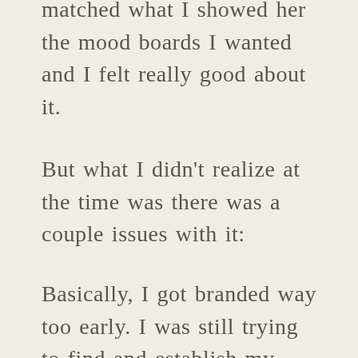matched what I showed her the mood boards I wanted and I felt really good about it.
But what I didn't realize at the time was there was a couple issues with it:
Basically, I got branded way too early. I was still trying to find and establish my style and brand voice at this point. I felt like I was getting